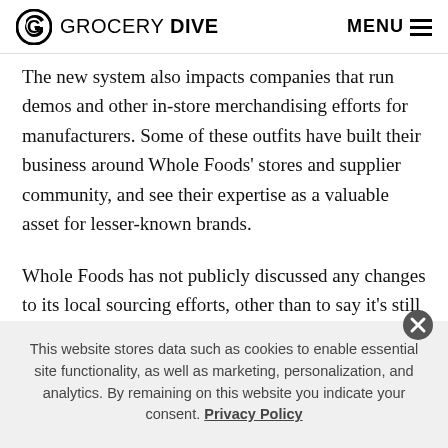GROCERY DIVE  MENU
The new system also impacts companies that run demos and other in-store merchandising efforts for manufacturers. Some of these outfits have built their business around Whole Foods' stores and supplier community, and see their expertise as a valuable asset for lesser-known brands.
Whole Foods has not publicly discussed any changes to its local sourcing efforts, other than to say it's still committed to these manufacturers. Over the past few…
This website stores data such as cookies to enable essential site functionality, as well as marketing, personalization, and analytics. By remaining on this website you indicate your consent. Privacy Policy